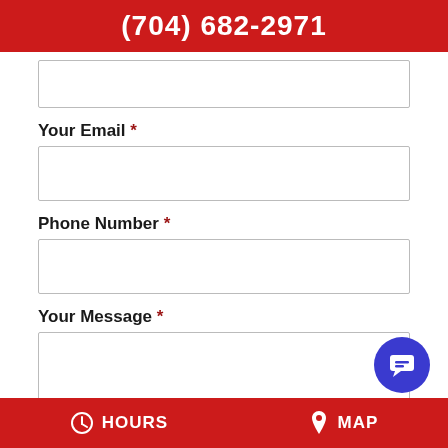(704) 682-2971
Your Email *
Phone Number *
Your Message *
HOURS   MAP